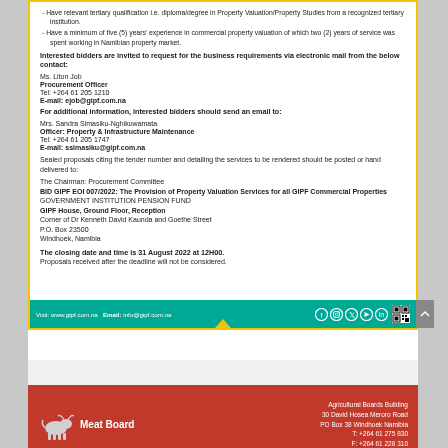Have relevant tertiary qualification i.e. diploma/degree in Property Valuation/Property Studies from a recognized tertiary institution.
Have a minimum of five (5) years' experience in commercial property valuation of which two (2) years of service was spent working in Namibian property market.
Interested bidders are invited to request for the business requirements via electronic mail from the below contact:
Ms. Liton Job
Procurement Officer
Tel: +264 61 205 1210
E-mail: ejob@gipf.com.na
For additional information, interested bidders should send an email to:
Mrs. Sandra Simasiku-Nghikuwamata
Officer: Property & Infrastructure Maintenance
Tel: +264 61 205 1747
E-mail: ssimasiku@gipf.com.na
Sealed proposals citing the tender number and detailing the services to be rendered should be posted or hand delivered to:
The Chairman: Procurement Committee
BID GIPF EOI 007/2022: The Provision of Property Valuation Services for all GIPF Commercial Properties
GOVERNMENT INSTITUTION PENSION FUND
GIPF House, Ground Floor, Reception
Corner of Dr Kenneth David Kaunda and Goethe Street
P.O. Box 23500
Windhoek, Namibia
The closing date and time is 31 August 2022 at 12H00.
Proposals received after the deadline will not be considered.
Visit: www.gipf.com.na  Email: info@gipf.com.na
[Figure (logo): Meat Board logo with red background, bull silhouette and text 'Meat Board']
Agricultural Boards Building
30 David Hosea Meroro Road
PO Box 38 Windhoek Namibia
T: +264 61 275 830
F: +264 61 228 310